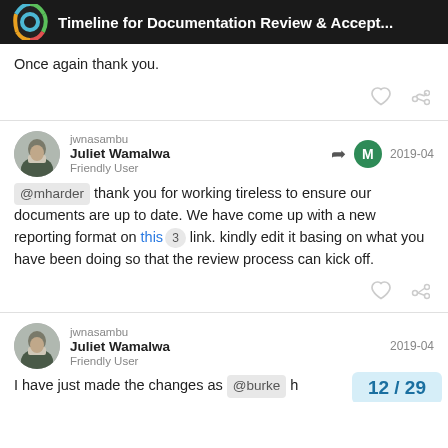Timeline for Documentation Review & Accept...
Once again thank you.
jwnasambu
Juliet Wamalwa
Friendly User
2019-04
@mharder thank you for working tireless to ensure our documents are up to date. We have come up with a new reporting format on this 3 link. kindly edit it basing on what you have been doing so that the review process can kick off.
jwnasambu
Juliet Wamalwa
Friendly User
2019-04
I have just made the changes as @burke h
12 / 29